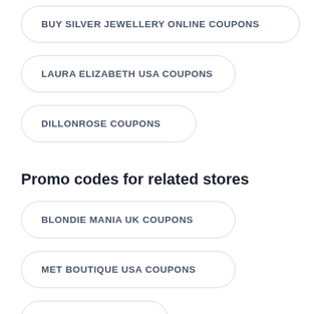BUY SILVER JEWELLERY ONLINE COUPONS
LAURA ELIZABETH USA COUPONS
DILLONROSE COUPONS
Promo codes for related stores
BLONDIE MANIA UK COUPONS
MET BOUTIQUE USA COUPONS
KYODT COUPONS